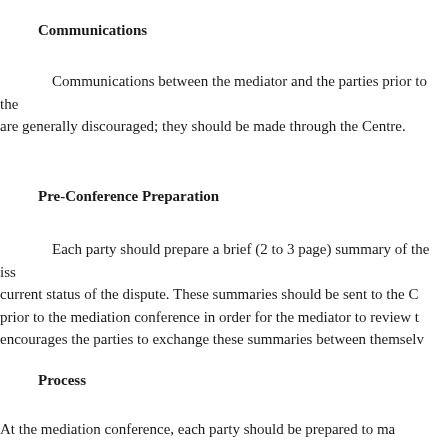Communications
Communications between the mediator and the parties prior to the are generally discouraged; they should be made through the Centre.
Pre-Conference Preparation
Each party should prepare a brief (2 to 3 page) summary of the iss current status of the dispute. These summaries should be sent to the C prior to the mediation conference in order for the mediator to review t encourages the parties to exchange these summaries between themselv
Process
At the mediation conference, each party should be prepared to ma